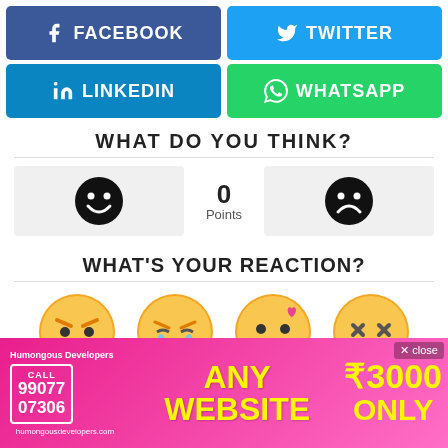[Figure (infographic): Social share buttons: Facebook (blue), Twitter (light blue), LinkedIn (teal-blue), WhatsApp (green)]
WHAT DO YOU THINK?
[Figure (infographic): Voting widget with smiley face (positive), 0 Points counter in center, frowning face (negative)]
WHAT'S YOUR REACTION?
[Figure (infographic): Reaction emoji row: angry face, sobbing face, kissing face with heart, laughing squinting face]
[Figure (infographic): Advertisement banner: Humongous Developers, CALL 99077 07306, humongousdevelopers.com, ANY WEBSITE ₹3000 ONLY, x close button]